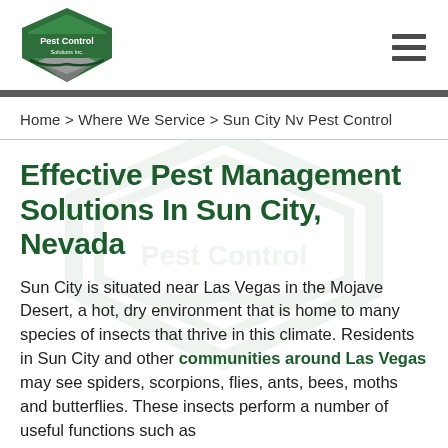Pest Control Solutions Inc. [logo] [hamburger menu]
Home > Where We Service > Sun City Nv Pest Control
Effective Pest Management Solutions In Sun City, Nevada
Sun City is situated near Las Vegas in the Mojave Desert, a hot, dry environment that is home to many species of insects that thrive in this climate. Residents in Sun City and other communities around Las Vegas may see spiders, scorpions, flies, ants, bees, moths and butterflies. These insects perform a number of useful functions such as